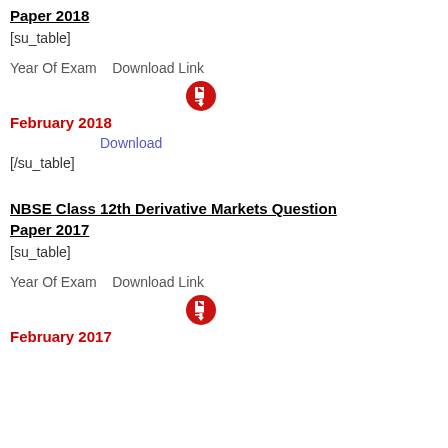Paper 2018
[su_table]
| Year Of Exam | Download Link |
| --- | --- |
| February 2018 | Download |
[/su_table]
NBSE Class 12th Derivative Markets Question Paper 2017
[su_table]
| Year Of Exam | Download Link |
| --- | --- |
| February 2017 |  |